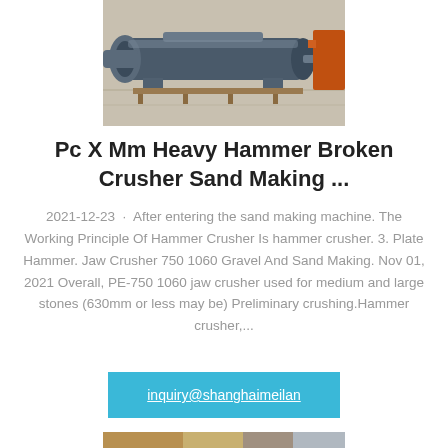[Figure (photo): Industrial heavy hammer crusher / sand making machine, large grey cylindrical mill equipment in a factory setting]
Pc X Mm Heavy Hammer Broken Crusher Sand Making ...
2021-12-23 · After entering the sand making machine. The Working Principle Of Hammer Crusher Is hammer crusher. 3. Plate Hammer. Jaw Crusher 750 1060 Gravel And Sand Making. Nov 01, 2021 Overall, PE-750 1060 jaw crusher used for medium and large stones (630mm or less may be) Preliminary crushing.Hammer crusher,...
inquiry@shanghaimeilan
[Figure (photo): Partially visible photo of gravel/rock material at the bottom of the page]